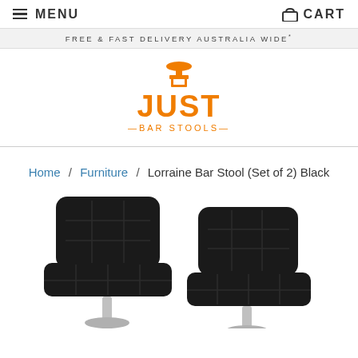MENU    CART
FREE & FAST DELIVERY AUSTRALIA WIDE*
[Figure (logo): Just Bar Stools logo — orange text reading JUST with a bar stool icon replacing the U, and '—BAR STOOLS—' below in orange]
Home / Furniture / Lorraine Bar Stool (Set of 2) Black
[Figure (photo): Two black quilted/tufted PU leather bar stools with chrome base, side by side, partially cropped at bottom]